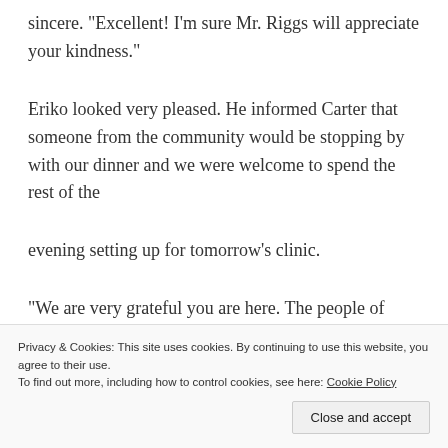sincere. "Excellent! I'm sure Mr. Riggs will appreciate your kindness."
Eriko looked very pleased. He informed Carter that someone from the community would be stopping by with our dinner and we were welcome to spend the rest of the
evening setting up for tomorrow's clinic.
“We are very grateful you are here. The people of Gelada have to travel very far to see a doctor. Many of
Privacy & Cookies: This site uses cookies. By continuing to use this website, you agree to their use.
To find out more, including how to control cookies, see here: Cookie Policy
Close and accept
Carter’s face softened. Suddenly, I could see the doctor